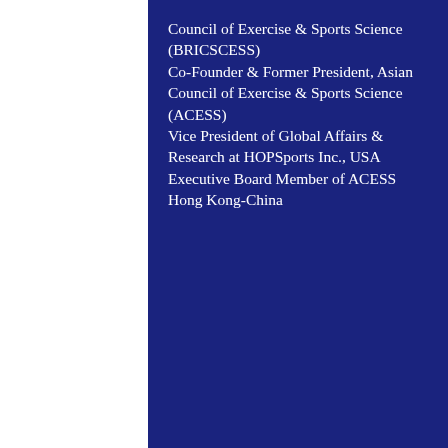Council of Exercise & Sports Science (BRICSCESS) Co-Founder & Former President, Asian Council of Exercise & Sports Science (ACESS) Vice President of Global Affairs & Research at HOPSports Inc., USA Executive Board Member of ACESS Hong Kong-China
©2021 Asian Council of Exercise & Sports Science (ACESS)